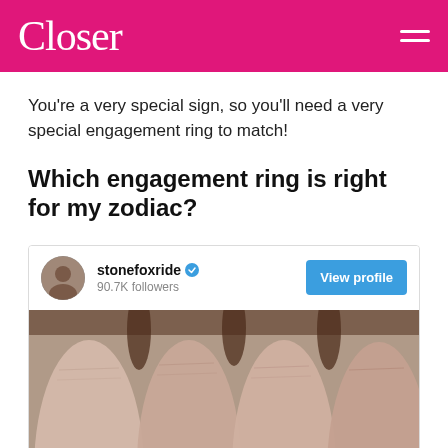Closer
You're a very special sign, so you'll need a very special engagement ring to match!
Which engagement ring is right for my zodiac?
[Figure (screenshot): Instagram embed card for account 'stonefoxride' with verified badge, 90.7K followers, a 'View profile' button, and a close-up photo of fingers on a wooden surface.]